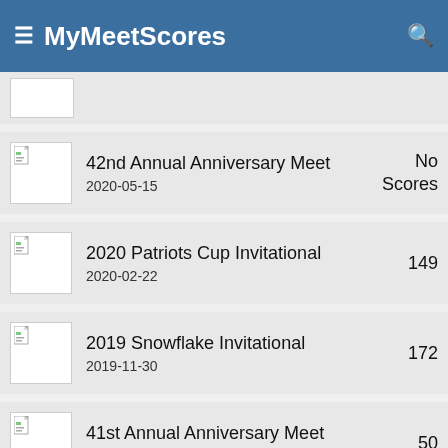MyMeetScores
42nd Annual Anniversary Meet
2020-05-15
No Scores
2020 Patriots Cup Invitational
2020-02-22
149
2019 Snowflake Invitational
2019-11-30
172
41st Annual Anniversary Meet
2019-05-11
50
Patriots Cup